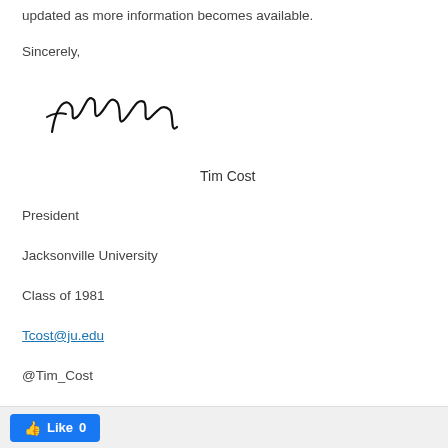updated as more information becomes available.
Sincerely,
[Figure (illustration): Handwritten signature reading 'Tim Cost']
Tim Cost
President
Jacksonville University
Class of 1981
Tcost@ju.edu
@Tim_Cost
[Figure (screenshot): Facebook Like button showing 'Like 0']